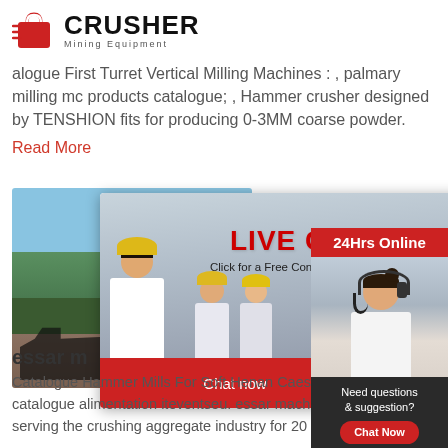[Figure (logo): Crusher Mining Equipment logo with red shopping bag icon and bold CRUSHER text]
alogue First Turret Vertical Milling Machines : , palmary milling mc products catalogue; , Hammer crusher designed by TENSHION fits for producing 0-3MM coarse powder.
Read More
[Figure (photo): Mining site aerial photo and live chat popup overlay with workers in yellow helmets, LIVE CHAT text in red, 'Click for a Free Consultation', Chat now and Chat later buttons]
essar m
Catalogue Hammer Mills For Soft Henan Caesa Machinery. 20121217Hammer Mill Catalogue Machinery. Hammer mill catalogue alimentation iteventseu. essar machine hammer mill catalogue company is a manufacturer and exporter of the serving the crushing aggregate industry for 20 more our company is a manufacturer and export
[Figure (infographic): Right sidebar with 24Hrs Online badge, customer service representative photo with headset, Need questions & suggestion section with Chat Now button, Enquiry section, and limingjlmofen@sina.com email]